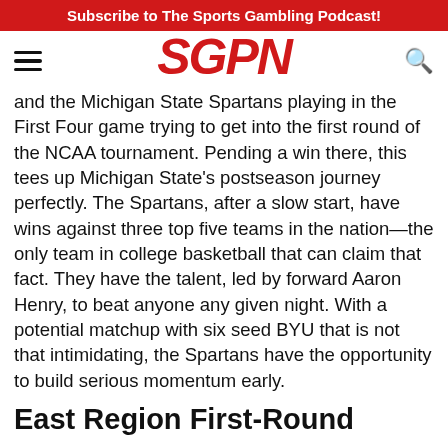Subscribe to The Sports Gambling Podcast!
[Figure (logo): SGPN logo in red italic bold text with hamburger menu and search icon]
and the Michigan State Spartans playing in the First Four game trying to get into the first round of the NCAA tournament. Pending a win there, this tees up Michigan State's postseason journey perfectly. The Spartans, after a slow start, have wins against three top five teams in the nation—the only team in college basketball that can claim that fact. They have the talent, led by forward Aaron Henry, to beat anyone any given night. With a potential matchup with six seed BYU that is not that intimidating, the Spartans have the opportunity to build serious momentum early.
East Region First-Round